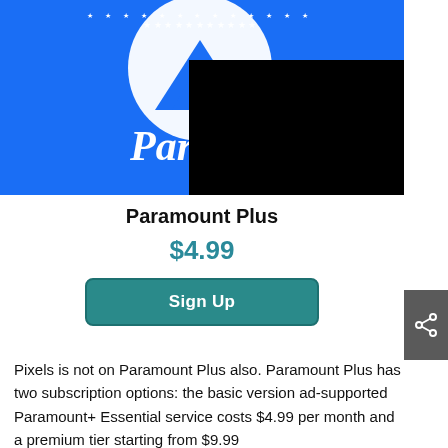[Figure (logo): Paramount Plus logo on blue background with mountain and stars, partially obscured by a black rectangle in the upper right]
Paramount Plus
$4.99
Sign Up
Pixels is not on Paramount Plus also. Paramount Plus has two subscription options: the basic version ad-supported Paramount+ Essential service costs $4.99 per month and a premium tier starting from $9.99